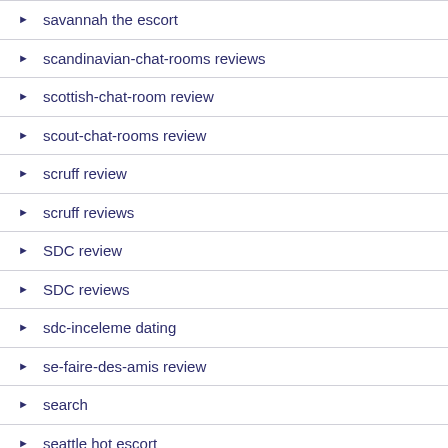savannah the escort
scandinavian-chat-rooms reviews
scottish-chat-room review
scout-chat-rooms review
scruff review
scruff reviews
SDC review
SDC reviews
sdc-inceleme dating
se-faire-des-amis review
search
seattle hot escort